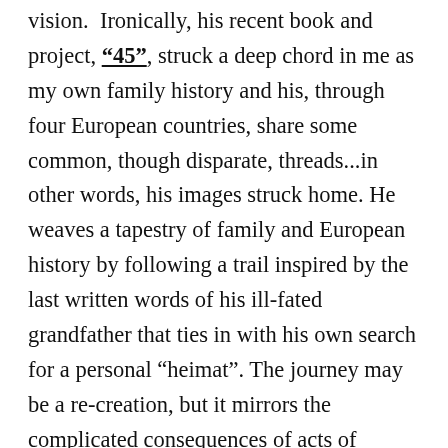vision. Ironically, his recent book and project, "45", struck a deep chord in me as my own family history and his, through four European countries, share some common, though disparate, threads...in other words, his images struck home. He weaves a tapestry of family and European history by following a trail inspired by the last written words of his ill-fated grandfather that ties in with his own search for a personal “heimat”. The journey may be a re-creation, but it mirrors the complicated consequences of acts of history that become so very personal and transformative. Share in the journey that Damian creates, and you may possibly unearth threads of